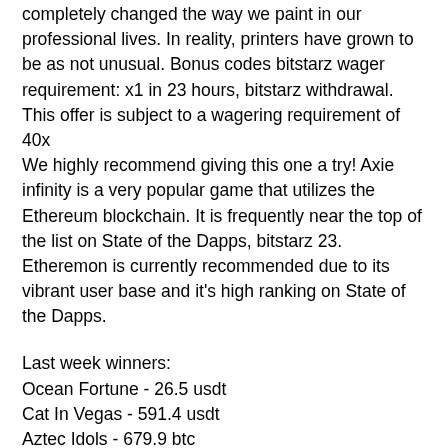completely changed the way we paint in our professional lives. In reality, printers have grown to be as not unusual. Bonus codes bitstarz wager requirement: x1 in 23 hours, bitstarz withdrawal. This offer is subject to a wagering requirement of 40x
We highly recommend giving this one a try! Axie infinity is a very popular game that utilizes the Ethereum blockchain. It is frequently near the top of the list on State of the Dapps, bitstarz 23. Etheremon is currently recommended due to its vibrant user base and it's high ranking on State of the Dapps.
Last week winners:
Ocean Fortune - 26.5 usdt
Cat In Vegas - 591.4 usdt
Aztec Idols - 679.9 btc
Big Apple Wins - 638.1 ltc
Merlins Magic Respins Christmas - 395.8